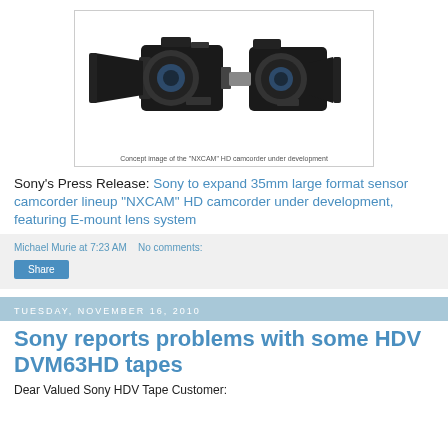[Figure (photo): Concept image showing two Sony NXCAM HD camcorders with E-mount lenses, displayed side by side against a white background. Caption reads: Concept image of the 'NXCAM' HD camcorder under development]
Concept image of the "NXCAM" HD camcorder under development
Sony's Press Release: Sony to expand 35mm large format sensor camcorder lineup "NXCAM" HD camcorder under development, featuring E-mount lens system
Michael Murie at 7:23 AM   No comments:
Share
Tuesday, November 16, 2010
Sony reports problems with some HDV DVM63HD tapes
Dear Valued Sony HDV Tape Customer: